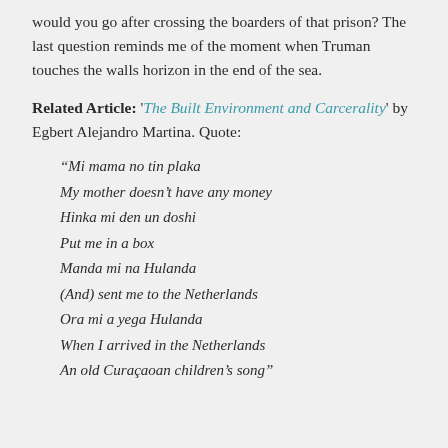would you go after crossing the boarders of that prison? The last question reminds me of the moment when Truman touches the walls horizon in the end of the sea.
Related Article: 'The Built Environment and Carcerality' by Egbert Alejandro Martina. Quote:
“Mi mama no tin plaka
My mother doesn’t have any money
Hinka mi den un doshi
Put me in a box
Manda mi na Hulanda
(And) sent me to the Netherlands
Ora mi a yega Hulanda
When I arrived in the Netherlands
An old Curaçaoan children’s song”